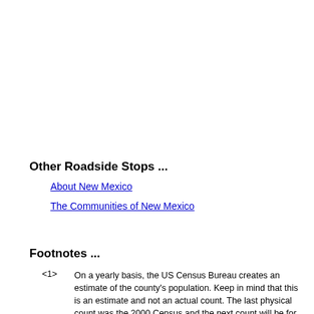Other Roadside Stops ...
About New Mexico
The Communities of New Mexico
Footnotes ...
<1>  On a yearly basis, the US Census Bureau creates an estimate of the county's population. Keep in mind that this is an estimate and not an actual count. The last physical count was the 2000 Census and the next count will be for the 2010 Census.
- Return to Citation